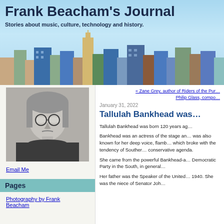Frank Beacham's Journal
Stories about music, culture, technology and history.
[Figure (illustration): Stylized city skyline illustration with colorful buildings of various heights and styles against a light blue sky background.]
[Figure (photo): Black and white portrait photograph of a man with long gray hair and round glasses, facing slightly left.]
Email Me
Pages
Photography by Frank Beacham
« Zane Grey, author of Riders of the Pur…
Philip Glass, compo…
January 31, 2022
Tallulah Bankhead was…
Tallulah Bankhead was born 120 years ag…
Bankhead was an actress of the stage an… was also known for her deep voice, flamb… which broke with the tendency of Souther… conservative agenda.
She came from the powerful Bankhead-a… Democratic Party in the South, in general…
Her father was the Speaker of the United… 1940. She was the niece of Senator Joh…